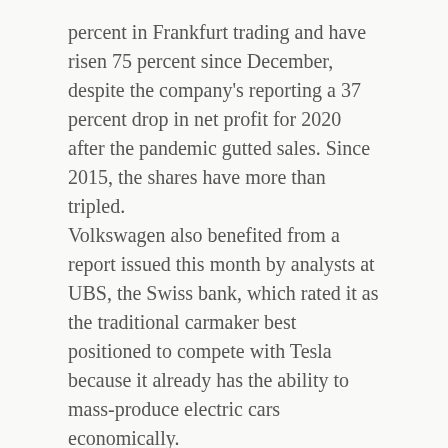percent in Frankfurt trading and have risen 75 percent since December, despite the company's reporting a 37 percent drop in net profit for 2020 after the pandemic gutted sales. Since 2015, the shares have more than tripled.
Volkswagen also benefited from a report issued this month by analysts at UBS, the Swiss bank, which rated it as the traditional carmaker best positioned to compete with Tesla because it already has the ability to mass-produce electric cars economically.
Volkswagen's advantage goes back to the decision made at that meeting in 2015, weeks after the emissions scandal became public.
The executives authorized development of a